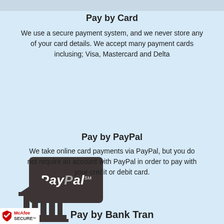Pay by Card
We use a secure payment system, and we never store any of your card details. We accept many payment cards inclusing; Visa, Mastercard and Delta
[Figure (logo): PayPal logo on dark rounded rectangle background]
Pay by PayPal
We take online card payments via PayPal, but you do not require an account with PayPal in order to pay with your credit or debit card.
[Figure (illustration): Bank/institution building icon in dark gray]
[Figure (logo): McAfee SECURE badge]
Pay by Bank Transfer